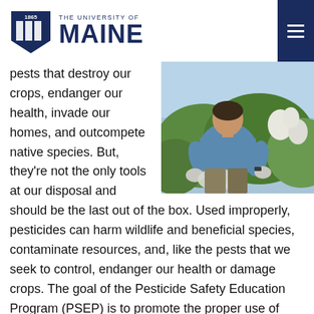1865 THE UNIVERSITY OF MAINE
[Figure (photo): Person in blue shirt and gloves working outdoors in a garden/field, handling plant material]
pests that destroy our crops, endanger our health, invade our homes, and outcompete native species. But, they're not the only tools at our disposal and should be the last out of the box. Used improperly, pesticides can harm wildlife and beneficial species, contaminate resources, and, like the pests that we seek to control, endanger our health or damage crops. The goal of the Pesticide Safety Education Program (PSEP) is to promote the proper use of pesticides in Maine by providing training and study materials to